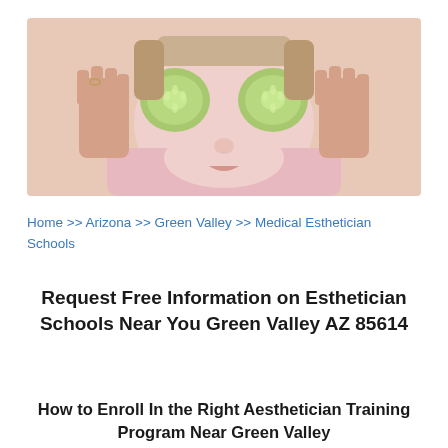[Figure (photo): A person lying down with a pink face mask, holding cucumber slices over their eyes with both hands, wearing a ring on one finger.]
Home >> Arizona >> Green Valley >> Medical Esthetician Schools
Request Free Information on Esthetician Schools Near You Green Valley AZ 85614
How to Enroll In the Right Aesthetician Training Program Near Green Valley